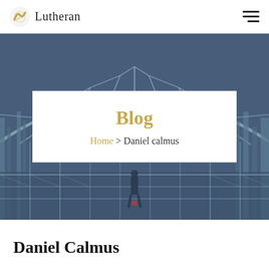Lutheran
[Figure (photo): Construction site with large steel scaffolding and truss framework against a blue-grey sky, with a worker visible in the foreground.]
Blog
Home > Daniel calmus
Daniel Calmus